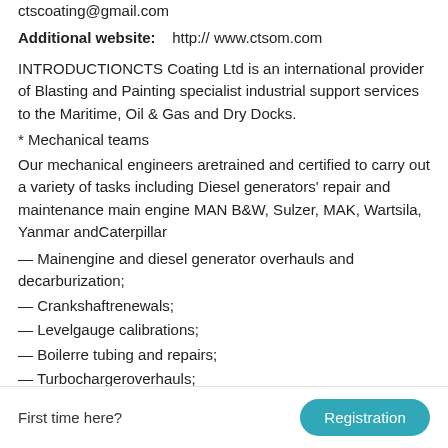ctscoating@gmail.com
Additional website:    http:// www.ctsom.com
INTRODUCTIONCTS Coating Ltd is an international provider of Blasting and Painting specialist industrial support services to the Maritime, Oil & Gas and Dry Docks.
* Mechanical teams
Our mechanical engineers aretrained and certified to carry out a variety of tasks including Diesel generators' repair and maintenance main engine MAN B&W, Sulzer, MAK, Wartsila, Yanmar andCaterpillar
— Mainengine and diesel generator overhauls and decarburization;
— Crankshaftrenewals;
— Levelgauge calibrations;
— Boilerre tubing and repairs;
— Turbochargeroverhauls;
First time here?  Registration